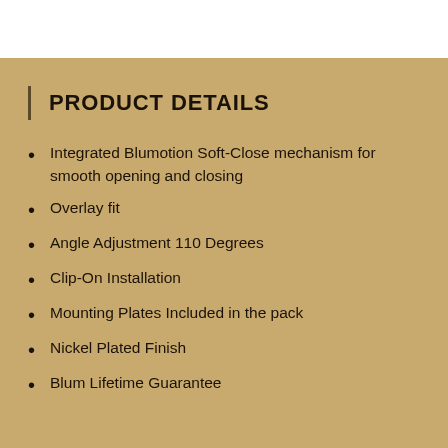PRODUCT DETAILS
Integrated Blumotion Soft-Close mechanism for smooth opening and closing
Overlay fit
Angle Adjustment 110 Degrees
Clip-On Installation
Mounting Plates Included in the pack
Nickel Plated Finish
Blum Lifetime Guarantee